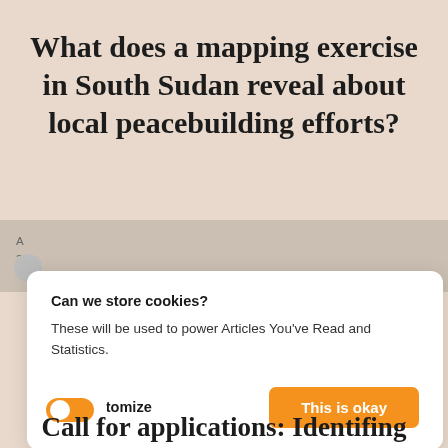What does a mapping exercise in South Sudan reveal about local peacebuilding efforts?
A
3
Can we store cookies?

These will be used to power Articles You've Read and Statistics.

No, Customize    This is okay
[Figure (illustration): Orange toggle switch icon in a white circular background]
Call for applications: Identifing